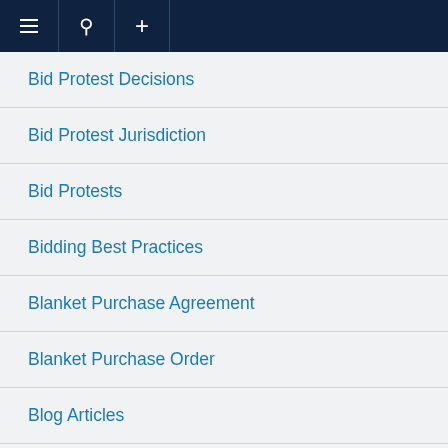Navigation bar with menu, search, and add icons
Bid Protest Decisions
Bid Protest Jurisdiction
Bid Protests
Bidding Best Practices
Blanket Purchase Agreement
Blanket Purchase Order
Blog Articles
Bona Fide Needs Rule